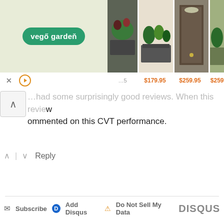[Figure (screenshot): Advertisement banner showing vego garden logo on green background with product images of raised garden beds at prices $179.95, $259.95, $259.95]
...had some surprisingly good reviews. When this reviewer commented on this CVT performance.
^ | v  Reply
✉ Subscribe  D Add Disqus  ⚠ Do Not Sell My Data   DISQUS